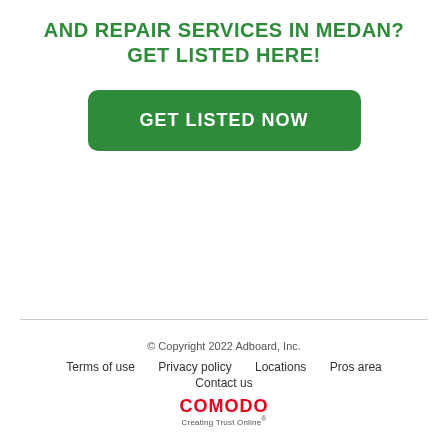AND REPAIR SERVICES IN MEDAN?
GET LISTED HERE!
[Figure (other): Green rounded button with white text reading 'GET LISTED NOW']
© Copyright 2022 Adboard, Inc.
Terms of use   Privacy policy   Locations   Pros area
Contact us
COMODO Creating Trust Online®